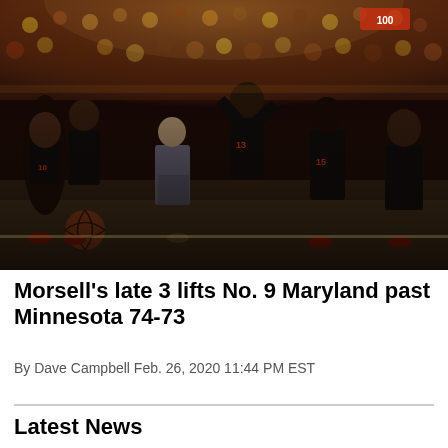[Figure (photo): Maryland basketball players and bench celebrating enthusiastically during a game at Minnesota. Players in black uniforms with red lettering (numbers 10, 13, 15 visible), a coach in a grey suit visible, crowd cheering in the background, basketball visible in lower left, arena lights illuminating the scene.]
Morsell's late 3 lifts No. 9 Maryland past Minnesota 74-73
By Dave Campbell Feb. 26, 2020 11:44 PM EST
Latest News